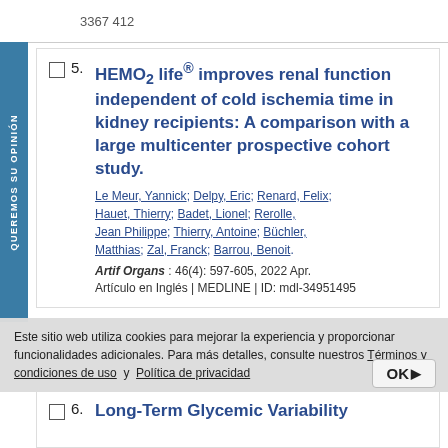5. HEMO2 life® improves renal function independent of cold ischemia time in kidney recipients: A comparison with a large multicenter prospective cohort study. Le Meur, Yannick; Delpy, Eric; Renard, Felix; Hauet, Thierry; Badet, Lionel; Rerolle, Jean Philippe; Thierry, Antoine; Büchler, Matthias; Zal, Franck; Barrou, Benoit. Artif Organs: 46(4): 597-605, 2022 Apr. Artículo en Inglés | MEDLINE | ID: mdl-34951495
Este sitio web utiliza cookies para mejorar la experiencia y proporcionar funcionalidades adicionales. Para más detalles, consulte nuestros Términos y condiciones de uso y Política de privacidad
6. Long-Term Glycemic Variability